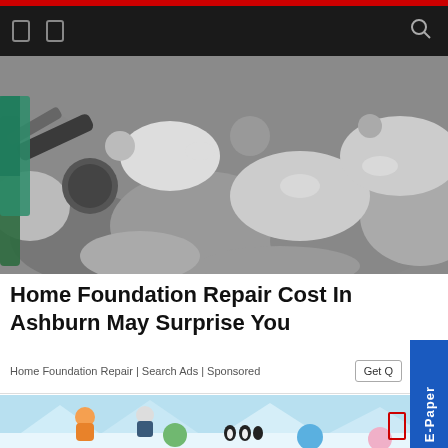Navigation bar with icons and search
[Figure (photo): Excavator machinery digging into rocky/gravelly ground, construction site photo]
Home Foundation Repair Cost In Ashburn May Surprise You
Home Foundation Repair | Search Ads | Sponsored
[Figure (illustration): Cartoon/anime style illustration of characters in winter/arctic setting with penguins and icy landscape, appears to be from Doraemon or similar anime]